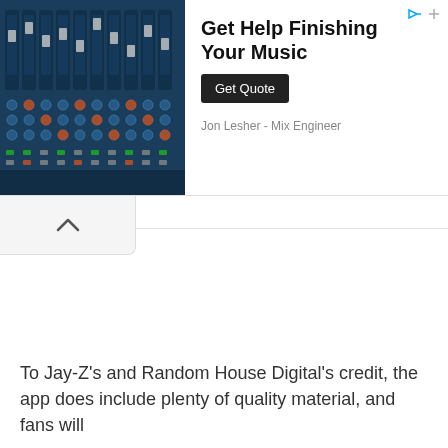[Figure (photo): Photo of a professional audio mixing console/board with faders, knobs and controls, teal/blue toned]
Get Help Finishing Your Music
Get Quote
Jon Lesher - Mix Engineer
[Figure (other): Collapse/minimize button with upward chevron arrow]
To Jay-Z's and Random House Digital's credit, the app does include plenty of quality material, and fans will